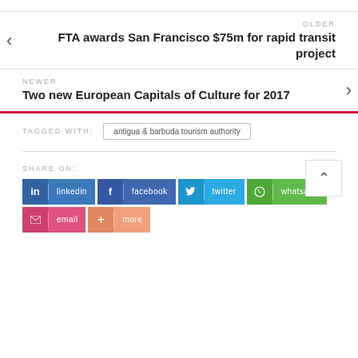OLDER
FTA awards San Francisco $75m for rapid transit project
NEWER
Two new European Capitals of Culture for 2017
TAGGED WITH:
antigua & barbuda tourism authority
SHARE ON:
linkedin
facebook
twitter
whatsapp
email
more